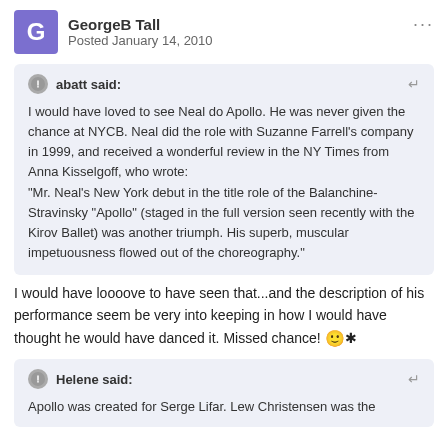GeorgeB Tall — Posted January 14, 2010
abatt said: I would have loved to see Neal do Apollo. He was never given the chance at NYCB. Neal did the role with Suzanne Farrell's company in 1999, and received a wonderful review in the NY Times from Anna Kisselgoff, who wrote: "Mr. Neal's New York debut in the title role of the Balanchine-Stravinsky "Apollo" (staged in the full version seen recently with the Kirov Ballet) was another triumph. His superb, muscular impetuousness flowed out of the choreography."
I would have loooove to have seen that...and the description of his performance seem be very into keeping in how I would have thought he would have danced it. Missed chance!
Helene said: Apollo was created for Serge Lifar. Lew Christensen was the